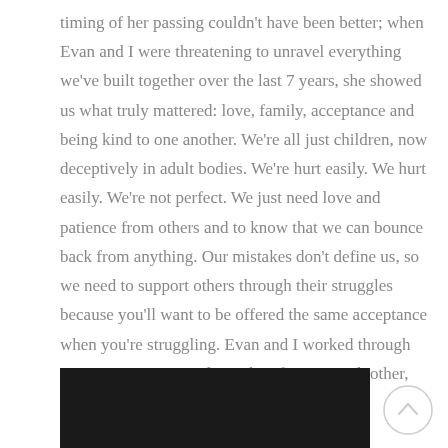timing of her passing couldn't have been better; when Evan and I were threatening to unravel everything we've built together over the last 7 years, she showed us what truly mattered: love, family, acceptance and being kind to one another. We're all just children, now deceptively in adult bodies. We're hurt easily. We hurt easily. We're not perfect. We just need love and patience from others and to know that we can bounce back from anything. Our mistakes don't define us, so we need to support others through their struggles because you'll want to be offered the same acceptance when you're struggling. Evan and I worked through our issues, we grieved together, forgave each other, and we came out stronger than ever before.
[Figure (photo): Dark/black image at the bottom of the page, partially visible]